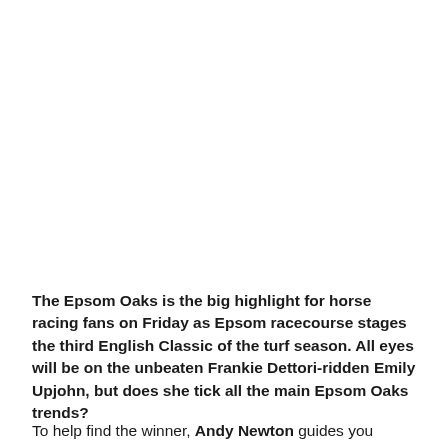The Epsom Oaks is the big highlight for horse racing fans on Friday as Epsom racecourse stages the third English Classic of the turf season. All eyes will be on the unbeaten Frankie Dettori-ridden Emily Upjohn, but does she tick all the main Epsom Oaks trends?
To help find the winner, Andy Newton guides you